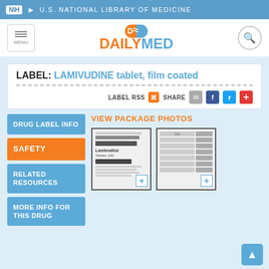NIH U.S. NATIONAL LIBRARY OF MEDICINE
[Figure (logo): DailyMed logo with pill icon, orange DAILY and blue MED text]
LABEL: LAMIVUDINE tablet, film coated
LABEL RSS   SHARE
DRUG LABEL INFO
SAFETY
RELATED RESOURCES
MORE INFO FOR THIS DRUG
VIEW PACKAGE PHOTOS
[Figure (photo): Package photo 1 - Lamivudine tablet drug label front]
[Figure (photo): Package photo 2 - Lamivudine tablet blister pack label]